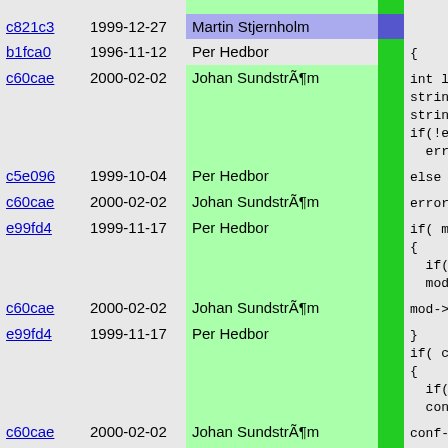| Hash | Date | Author |  | Code |
| --- | --- | --- | --- | --- |
| c821c3 | 1999-12-27 | Martin Stjernholm |  |  |
| b1fca0 | 1996-11-12 | Per Hedbor |  | { |
| c60cae | 2000-02-02 | Johan SundstrÃ¶m |  | int log_
string r
string l
if(!erro
  error_ |
| c5e096 | 1999-10-04 | Per Hedbor |  | else |
| c60cae | 2000-02-02 | Johan SundstrÃ¶m |  | error_ |
| e99fd4 | 1999-11-17 | Per Hedbor |  | if( mod
{
  if( !m
  mod- |
| c60cae | 2000-02-02 | Johan SundstrÃ¶m |  | mod->e |
| e99fd4 | 1999-11-17 | Per Hedbor |  | }
if( conf
{
  if( !c
  conf |
| c60cae | 2000-02-02 | Johan SundstrÃ¶m |  | conf-> |
| e99fd4 | 1999-11-17 | Per Hedbor |  | } |